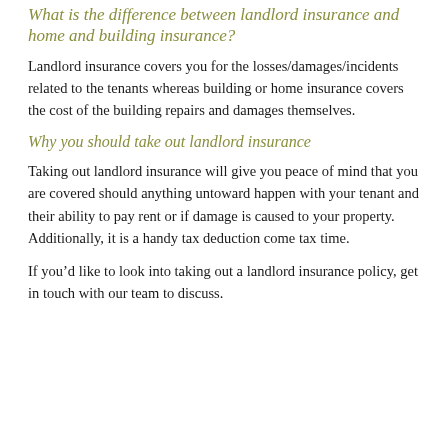What is the difference between landlord insurance and home and building insurance?
Landlord insurance covers you for the losses/damages/incidents related to the tenants whereas building or home insurance covers the cost of the building repairs and damages themselves.
Why you should take out landlord insurance
Taking out landlord insurance will give you peace of mind that you are covered should anything untoward happen with your tenant and their ability to pay rent or if damage is caused to your property. Additionally, it is a handy tax deduction come tax time.
If you’d like to look into taking out a landlord insurance policy, get in touch with our team to discuss.